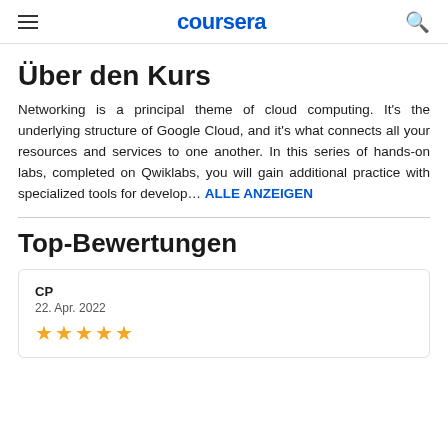coursera
Über den Kurs
Networking is a principal theme of cloud computing. It's the underlying structure of Google Cloud, and it's what connects all your resources and services to one another. In this series of hands-on labs, completed on Qwiklabs, you will gain additional practice with specialized tools for develop... ALLE ANZEIGEN
Top-Bewertungen
CP
22. Apr. 2022
★★★★★